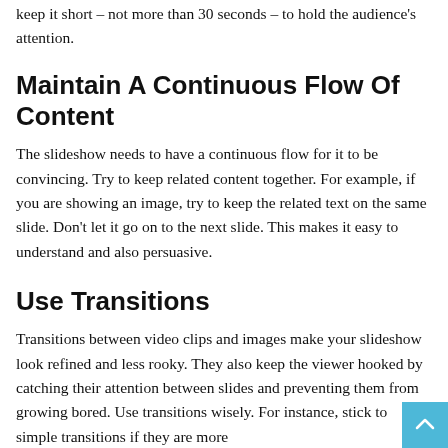keep it short – not more than 30 seconds – to hold the audience's attention.
Maintain A Continuous Flow Of Content
The slideshow needs to have a continuous flow for it to be convincing. Try to keep related content together. For example, if you are showing an image, try to keep the related text on the same slide. Don't let it go on to the next slide. This makes it easy to understand and also persuasive.
Use Transitions
Transitions between video clips and images make your slideshow look refined and less rooky. They also keep the viewer hooked by catching their attention between slides and preventing them from growing bored. Use transitions wisely. For instance, stick to simple transitions if they are more